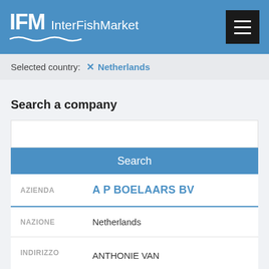IFM InterFishMarket
Selected country: × Netherlands
Search a company
Search
| Field | Value |
| --- | --- |
| AZIENDA | A P BOELAARS BV |
| NAZIONE | Netherlands |
| INDIRIZZO | ANTHONIE VAN DIJCKSTRAAT 7 AMSTERDAM |